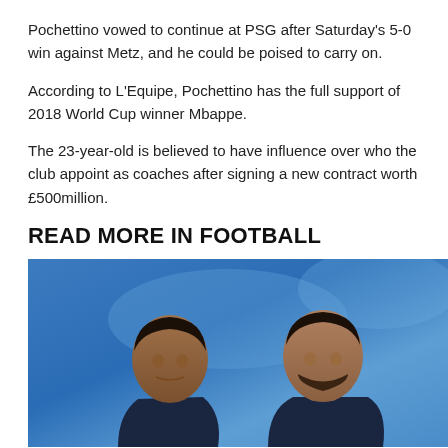Pochettino vowed to continue at PSG after Saturday's 5-0 win against Metz, and he could be poised to carry on.
According to L'Equipe, Pochettino has the full support of 2018 World Cup winner Mbappe.
The 23-year-old is believed to have influence over who the club appoint as coaches after signing a new contract worth £500million.
READ MORE IN FOOTBALL
[Figure (photo): Two football players (Mbappe and Benzema) in dark navy jerseys against a blue background, shown from shoulders up.]